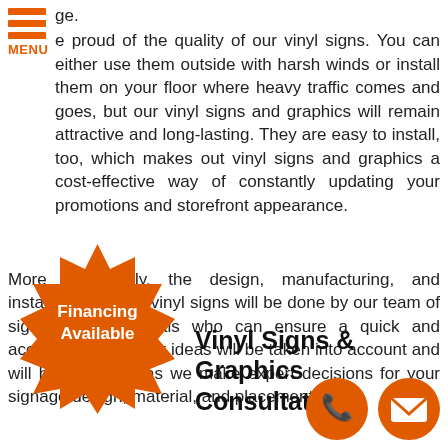MENU
ge. e proud of the quality of our vinyl signs. You can either use them outside with harsh winds or install them on your floor where heavy traffic comes and goes, but our vinyl signs and graphics will remain attractive and long-lasting. They are easy to install, too, which makes out vinyl signs and graphics a cost-effective way of constantly updating your promotions and storefront appearance.
More importantly, the design, manufacturing, and installation of your vinyl signs will be done by our team of signage professionals who can ensure a quick and accurate job. All your ideas will be taken into account and will be our guide as we make expert decisions for your signage design, material, and placement.
[Figure (infographic): Orange starburst badge with white text reading 'Financing Available']
Vinyl Signs & Graphics Consultation
[Figure (infographic): Two orange circle icons: phone and email/envelope]